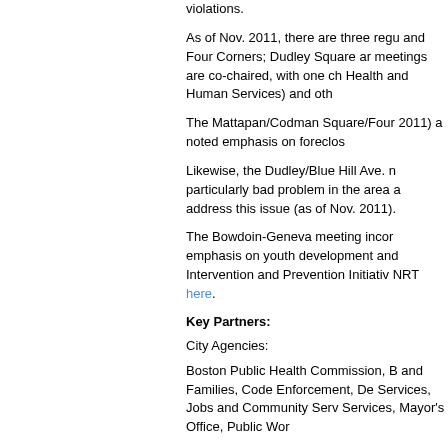violations.
As of Nov. 2011, there are three regu and Four Corners; Dudley Square ar meetings are co-chaired, with one ch Health and Human Services) and oth
The Mattapan/Codman Square/Four 2011) a noted emphasis on foreclos
Likewise, the Dudley/Blue Hill Ave. n particularly bad problem in the area a address this issue (as of Nov. 2011).
The Bowdoin-Geneva meeting incor emphasis on youth development and Intervention and Prevention Initiativ NRT here.
Key Partners:
City Agencies:
Boston Public Health Commission, B and Families, Code Enforcement, De Services, Jobs and Community Serv Services, Mayor's Office, Public Wor
Community Organizations and Colla
Bowdoin Geneva Violence Interventi and Prevention